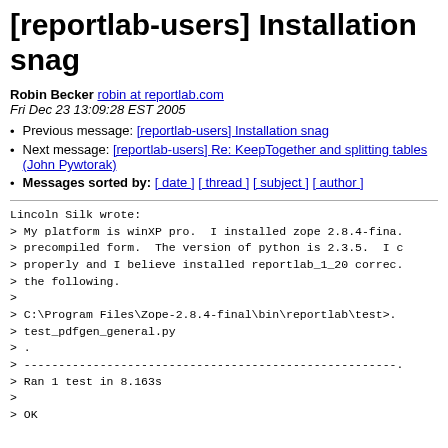[reportlab-users] Installation snag
Robin Becker robin at reportlab.com
Fri Dec 23 13:09:28 EST 2005
Previous message: [reportlab-users] Installation snag
Next message: [reportlab-users] Re: KeepTogether and splitting tables (John Pywtorak)
Messages sorted by: [ date ] [ thread ] [ subject ] [ author ]
Lincoln Silk wrote:
> My platform is winXP pro.  I installed zope 2.8.4-fina...
> precompiled form.  The version of python is 2.3.5.  I c...
> properly and I believe installed reportlab_1_20 correc...
> the following.
>
> C:\Program Files\Zope-2.8.4-final\bin\reportlab\test>...
> test_pdfgen_general.py
> .
> --------------------------------------------------------------
> Ran 1 test in 8.163s
>
> OK